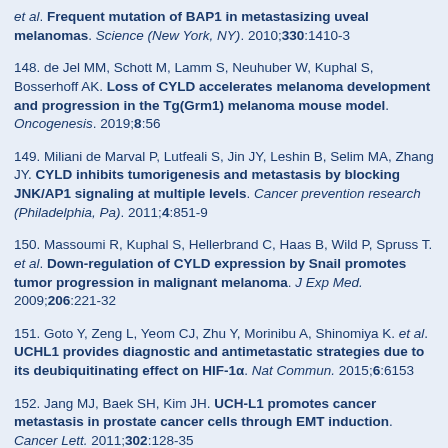et al. Frequent mutation of BAP1 in metastasizing uveal melanomas. Science (New York, NY). 2010;330:1410-3
148. de Jel MM, Schott M, Lamm S, Neuhuber W, Kuphal S, Bosserhoff AK. Loss of CYLD accelerates melanoma development and progression in the Tg(Grm1) melanoma mouse model. Oncogenesis. 2019;8:56
149. Miliani de Marval P, Lutfeali S, Jin JY, Leshin B, Selim MA, Zhang JY. CYLD inhibits tumorigenesis and metastasis by blocking JNK/AP1 signaling at multiple levels. Cancer prevention research (Philadelphia, Pa). 2011;4:851-9
150. Massoumi R, Kuphal S, Hellerbrand C, Haas B, Wild P, Spruss T. et al. Down-regulation of CYLD expression by Snail promotes tumor progression in malignant melanoma. J Exp Med. 2009;206:221-32
151. Goto Y, Zeng L, Yeom CJ, Zhu Y, Morinibu A, Shinomiya K. et al. UCHL1 provides diagnostic and antimetastatic strategies due to its deubiquitinating effect on HIF-1α. Nat Commun. 2015;6:6153
152. Jang MJ, Baek SH, Kim JH. UCH-L1 promotes cancer metastasis in prostate cancer cells through EMT induction. Cancer Lett. 2011;302:128-35
153. Kim HJ, Kim YM, Lim S, Nam YK, Jeong J, Kim HJ. et al. Ubiquitin C-terminal hydrolase-L1 is a key regulator of tumor cell invasion and metastasis. Oncogene. 2009;28:117-27
154. Wang W, Zou L, Zhou D, Zhou Z, Tang F, Xu Z. et al. Overexpression of ubiquitin carboxyl terminal hydrolase-L1